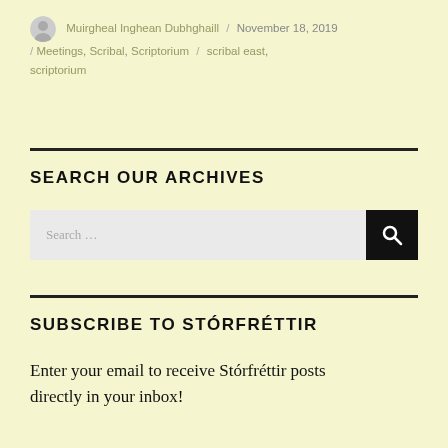Muirgheal Inghean Dubhghaill / November 18, 2019 / Meetings, Scribal, Scriptorium / scribal east, scriptorium
SEARCH OUR ARCHIVES
Search …
SUBSCRIBE TO STÓRFRÉTTIR
Enter your email to receive Stórfréttir posts directly in your inbox!